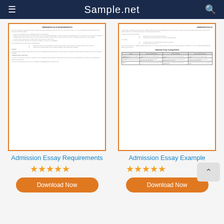Sample.net
[Figure (screenshot): Preview thumbnail of Admission Essay Requirements document]
[Figure (screenshot): Preview thumbnail of Admission Essay Example document with scoring rubric table]
Admission Essay Requirements
Admission Essay Example
[Figure (other): 5 orange star rating for Admission Essay Requirements]
[Figure (other): 5 orange star rating for Admission Essay Example]
Download Now
Download Now